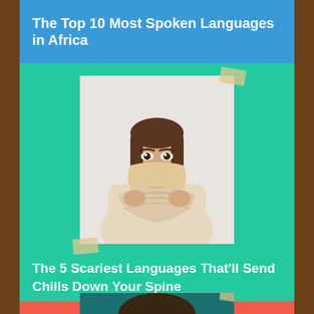The Top 10 Most Spoken Languages in Africa
[Figure (photo): Woman in beige turtleneck sweater holding the collar up over her face, showing only her eyes]
The 5 Scariest Languages That'll Send Chills Down Your Spine
[Figure (illustration): Illustrated woman with dark hair looking down, surrounded by pointing hands on teal background]